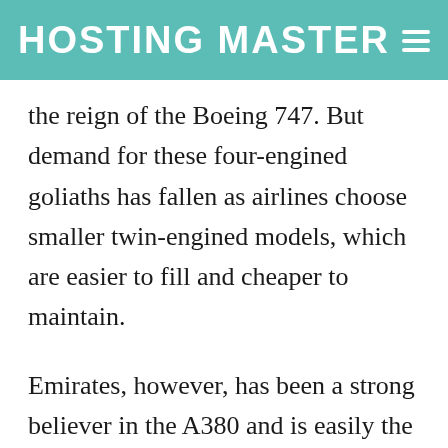HOSTING MASTER
the reign of the Boeing 747. But demand for these four-engined goliaths has fallen as airlines choose smaller twin-engined models, which are easier to fill and cheaper to maintain.
Emirates, however, has been a strong believer in the A380 and is easily the largest customer with total orders of 142 aircraft, of which it has taken just over 100.
Talks between Airbus and Emirates over a